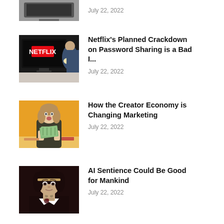[Figure (photo): Partial thumbnail of an article at the top of the page, cropped]
July 22, 2022
[Figure (photo): Netflix logo on a TV screen, person in background with popcorn]
Netflix's Planned Crackdown on Password Sharing is a Bad I...
July 22, 2022
[Figure (photo): Young woman in dark jacket sitting at desk holding a fan of money against orange background]
How the Creator Economy is Changing Marketing
July 22, 2022
[Figure (photo): AI-looking woman with robotic neck details, dark hair, white collar on dark background]
AI Sentience Could Be Good for Mankind
July 22, 2022